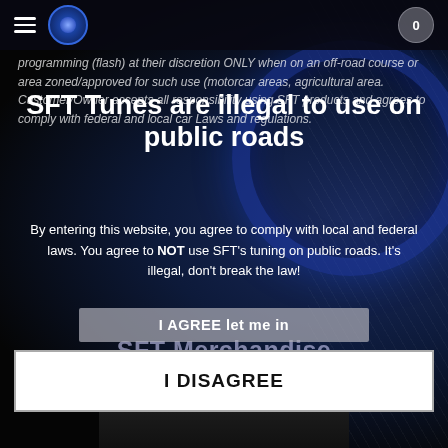SFT logo and navigation header with cart (0)
programming (flash) at their discretion ONLY when on an off-road course or area zoned/approved for such use (motorcar areas, agricultural area). Customer/Owner accepts all responsibility using SFT products and agrees to comply with federal and local car Laws and regulations.
SFT Tunes are illegal to use on public roads
By entering this website, you agree to comply with local and federal laws. You agree to NOT use SFT's tuning on public roads. It's illegal, don't break the law!
I AGREE let me in
SFT Merchandise
I DISAGREE
[Figure (photo): Bottom portion showing a dark hoodie/sweatshirt garment]